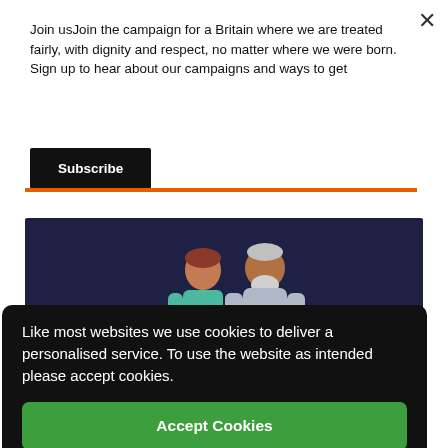Join usJoin the campaign for a Britain where we are treated fairly, with dignity and respect, no matter where we were born. Sign up to hear about our campaigns and ways to get
Subscribe
[Figure (illustration): Dark navy blue card with an illustration of two figures (a person in teal top and an elderly person with a beard), orange accent bottom-right, and bold white text 'Workers after Brexit' at the bottom]
Like most websites we use cookies to deliver a personalised service. To use the website as intended please accept cookies.
Accept Cookies